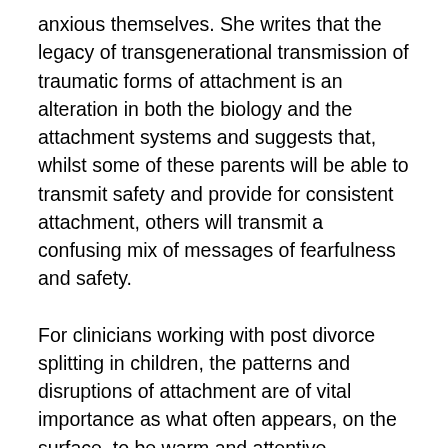anxious themselves. She writes that the legacy of transgenerational transmission of traumatic forms of attachment is an alteration in both the biology and the attachment systems and suggests that, whilst some of these parents will be able to transmit safety and provide for consistent attachment, others will transmit a confusing mix of messages of fearfulness and safety.
For clinicians working with post divorce splitting in children, the patterns and disruptions of attachment are of vital importance as what often appears, on the surface, to be warm and attentive parenting can be charged with the projection of unresolved trauma, enmeshment and the child's unconscious, existential terror of abandonment. This area of research is one that is opening up new ways of understanding children's